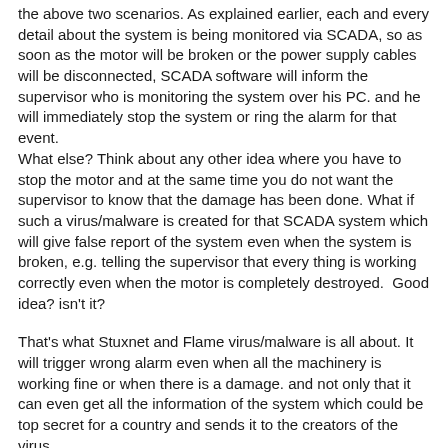the above two scenarios. As explained earlier, each and every detail about the system is being monitored via SCADA, so as soon as the motor will be broken or the power supply cables will be disconnected, SCADA software will inform the supervisor who is monitoring the system over his PC. and he will immediately stop the system or ring the alarm for that event.
What else? Think about any other idea where you have to stop the motor and at the same time you do not want the supervisor to know that the damage has been done. What if such a virus/malware is created for that SCADA system which will give false report of the system even when the system is broken, e.g. telling the supervisor that every thing is working correctly even when the motor is completely destroyed.  Good idea? isn't it?
That's what Stuxnet and Flame virus/malware is all about. It will trigger wrong alarm even when all the machinery is working fine or when there is a damage. and not only that it can even get all the information of the system which could be top secret for a country and sends it to the creators of the virus.